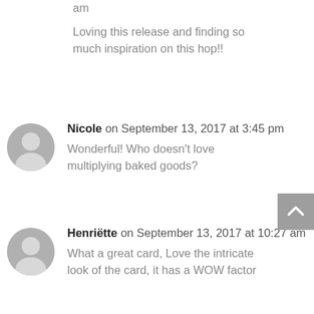am
Loving this release and finding so much inspiration on this hop!!
Nicole on September 13, 2017 at 3:45 pm
Wonderful! Who doesn't love multiplying baked goods?
Henriëtte on September 13, 2017 at 10:27 am
What a great card, Love the intricate look of the card, it has a WOW factor